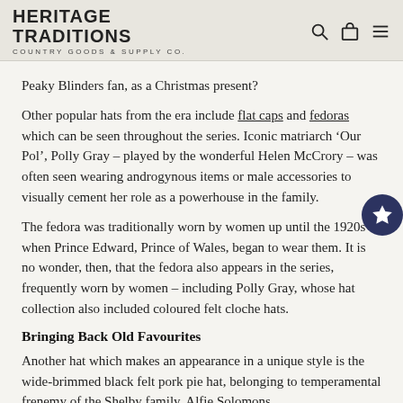HERITAGE TRADITIONS
COUNTRY GOODS & SUPPLY Co.
Peaky Blinders fan, as a Christmas present?
Other popular hats from the era include flat caps and fedoras which can be seen throughout the series. Iconic matriarch ‘Our Pol’, Polly Gray – played by the wonderful Helen McCrory – was often seen wearing androgynous items or male accessories to visually cement her role as a powerhouse in the family.
The fedora was traditionally worn by women up until the 1920s when Prince Edward, Prince of Wales, began to wear them. It is no wonder, then, that the fedora also appears in the series, frequently worn by women – including Polly Gray, whose hat collection also included coloured felt cloche hats.
Bringing Back Old Favourites
Another hat which makes an appearance in a unique style is the wide-brimmed black felt pork pie hat, belonging to temperamental frenemy of the Shelby family, Alfie Solomons…